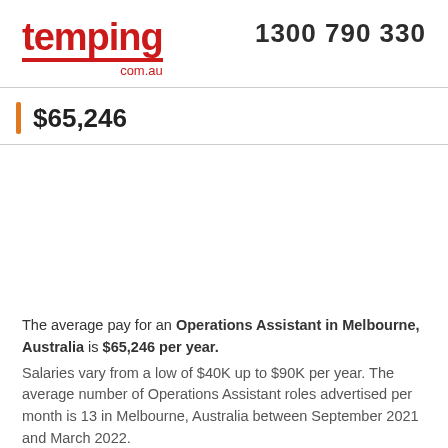temping.com.au  1300 790 330
$65,246
The average pay for an Operations Assistant in Melbourne, Australia is $65,246 per year.
Salaries vary from a low of $40K up to $90K per year. The average number of Operations Assistant roles advertised per month is 13 in Melbourne, Australia between September 2021 and March 2022.